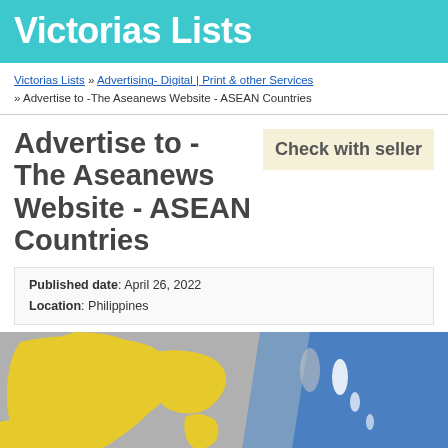Victorias Lists
Victorias Lists » Advertising- Digital | Print & other Services » Advertise to -The Aseanews Website - ASEAN Countries
Advertise to - The Aseanews Website - ASEAN Countries
Check with seller
Published date: April 26, 2022
Location: Philippines
[Figure (map): Map showing ASEAN countries region with yellow landmasses on grey background and blue ocean/sea areas]